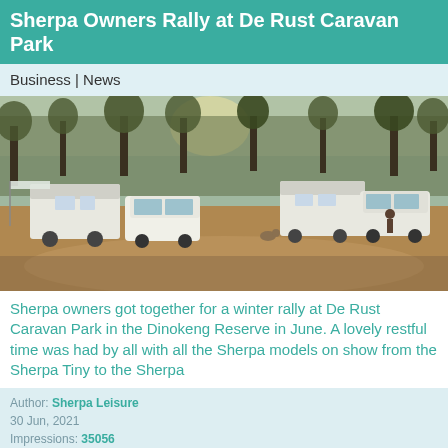Sherpa Owners Rally at De Rust Caravan Park
Business | News
[Figure (photo): Outdoor campsite scene showing multiple Sherpa caravans and white SUVs parked on dry ground with trees in background, late afternoon light]
Sherpa owners got together for a winter rally at De Rust Caravan Park in the Dinokeng Reserve in June.  A lovely restful time was had by all with all the Sherpa models on show from the Sherpa Tiny to the Sherpa
Author: Sherpa Leisure
30 Jun, 2021
Impressions: 35056
Sherpa Leisure – Featured Business